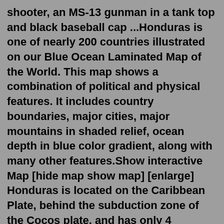shooter, an MS-13 gunman in a tank top and black baseball cap ...Honduras is one of nearly 200 countries illustrated on our Blue Ocean Laminated Map of the World. This map shows a combination of political and physical features. It includes country boundaries, major cities, major mountains in shaded relief, ocean depth in blue color gradient, along with many other features.Show interactive Map [hide map show map] [enlarge] Honduras is located on the Caribbean Plate, behind the subduction zone of the Cocos plate, and has only 4 possibly active volcanoes. The young volcanic fields of Honduras are related to regional rifting processes, caused by extensional stress on the crust of the Caribbean Plate rather than ...Simple black and white outline map indicates the overall shape of the regions. classic style 3. Classic beige color scheme of vintage antique maps enhanced by hill-shading. Honduras highlighted by white color. gray 3. Dark gray color scheme enhanced by hill-shading. Honduras highlighted in white. savanna style